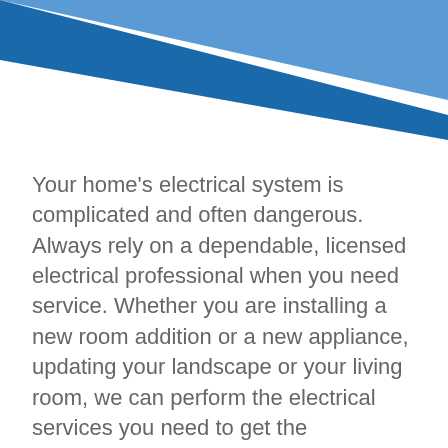[Figure (illustration): Blue triangular decorative graphic element in the upper portion of the page, forming a right triangle pointing to the lower right, with a lighter blue and darker blue layered triangle shape.]
Your home’s electrical system is complicated and often dangerous. Always rely on a dependable, licensed electrical professional when you need service. Whether you are installing a new room addition or a new appliance, updating your landscape or your living room, we can perform the electrical services you need to get the